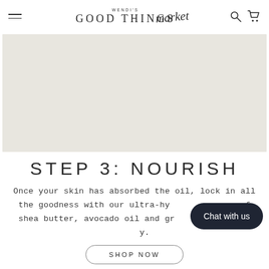Wendi's Good Things Market — navigation bar with logo, hamburger menu, search and cart icons
[Figure (photo): Large hero image with light beige/linen background, no visible product (placeholder or off-screen content)]
STEP 3: NOURISH
Once your skin has absorbed the oil, lock in all the goodness with our ultra-hy[drating blend] of shea butter, avocado oil and gr[een tea extract toda]y.
Chat with us
SHOP NOW